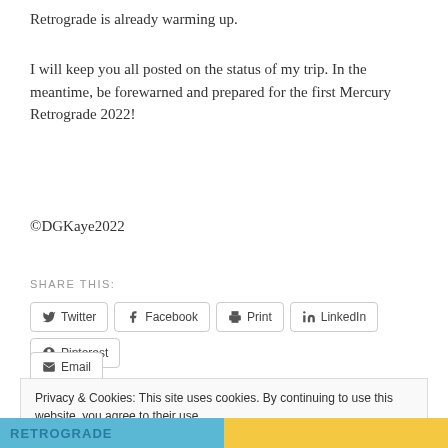Retrograde is already warming up.
I will keep you all posted on the status of my trip. In the meantime, be forewarned and prepared for the first Mercury Retrograde 2022!
©DGKaye2022
SHARE THIS:
Twitter | Facebook | Print | LinkedIn | Pinterest | Email
Privacy & Cookies: This site uses cookies. By continuing to use this website, you agree to their use.
To find out more, including how to control cookies, see here: Cookie Policy

Close and accept